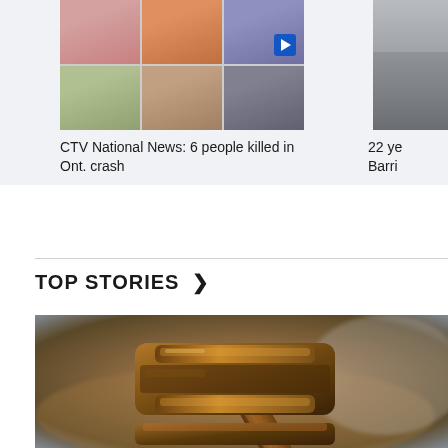[Figure (photo): Photo collage of 6 people (victims of Ontario crash) in a 3x2 grid with a play button overlay, and a partially visible person photo on the right side]
CTV National News: 6 people killed in Ont. crash
22 ye... Barri...
TOP STORIES >
[Figure (photo): Close-up photograph of a wooden judge's gavel resting on a sound block, with a blurred background]